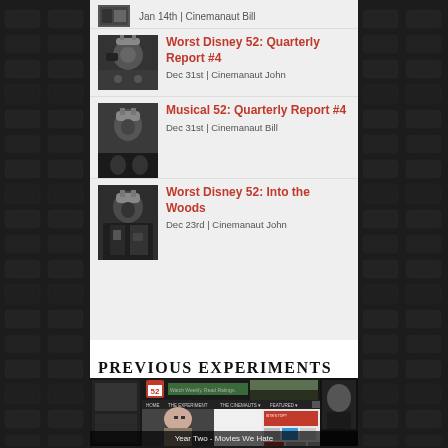Jan 14th | Cinemanaut Bill
Worst Disney 52: Quarterly Report #4 — Dec 31st | Cinemanaut John
Musical 52: Quarterly Report #4 — Dec 31st | Cinemanaut Bill
Worst Disney 52: Into the Woods — Dec 23rd | Cinemanaut John
PREVIOUS EXPERIMENTS
[Figure (screenshot): Screenshot of Cinema 52 website showing 'Year Two - Movies We Hate' with a movie still of a character and website navigation elements]
Year Two - Movies We Hate